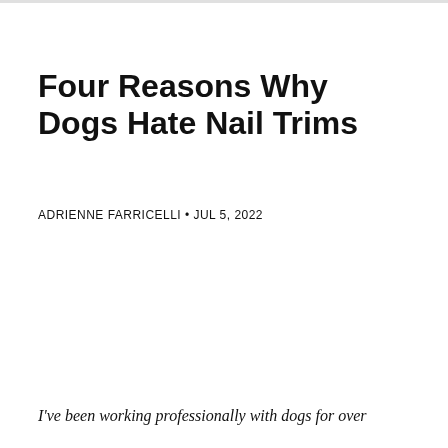Four Reasons Why Dogs Hate Nail Trims
ADRIENNE FARRICELLI • JUL 5, 2022
I've been working professionally with dogs for over